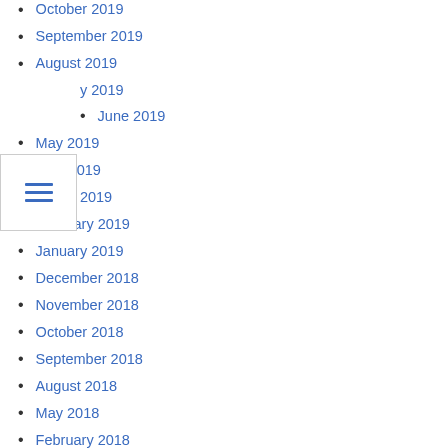October 2019
September 2019
August 2019
July 2019
June 2019
May 2019
April 2019
March 2019
February 2019
January 2019
December 2018
November 2018
October 2018
September 2018
August 2018
May 2018
February 2018
November 2017